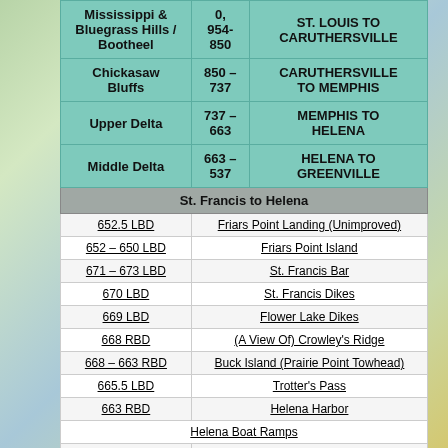| Region | Mile Marker | Segment |
| --- | --- | --- |
| Mississippi & Bluegrass Hills / Bootheel | 0, 954-850 | ST. LOUIS TO CARUTHERSVILLE |
| Chickasaw Bluffs | 850 – 737 | CARUTHERSVILLE TO MEMPHIS |
| Upper Delta | 737 – 663 | MEMPHIS TO HELENA |
| Middle Delta | 663 – 537 | HELENA TO GREENVILLE |
| St. Francis to Helena |  |  |
| 652.5 LBD |  | Friars Point Landing (Unimproved) |
| 652 – 650 LBD |  | Friars Point Island |
| 671 – 673 LBD |  | St. Francis Bar |
| 670 LBD |  | St. Francis Dikes |
| 669 LBD |  | Flower Lake Dikes |
| 668 RBD |  | (A View Of) Crowley's Ridge |
| 668 – 663 RBD |  | Buck Island (Prairie Point Towhead) |
| 665.5 LBD |  | Trotter's Pass |
| 663 RBD |  | Helena Harbor |
| Helena Boat Ramps |  |  |
| 663 RBD |  | Helena-West Helena |
| Quapaw Canoe Company – Helena Outpost |  |  |